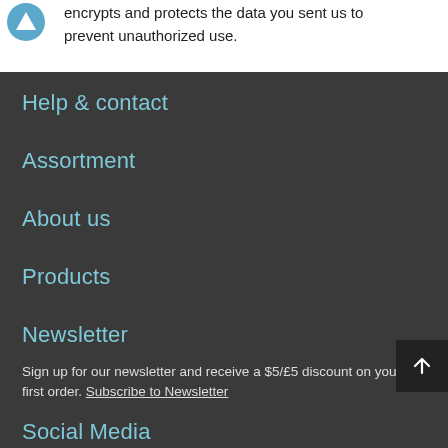encrypts and protects the data you sent us to prevent unauthorized use.
Help & contact
Assortment
About us
Products
Newsletter
Sign up for our newsletter and receive a $5/£5 discount on your first order. Subscribe to Newsletter
Social Media